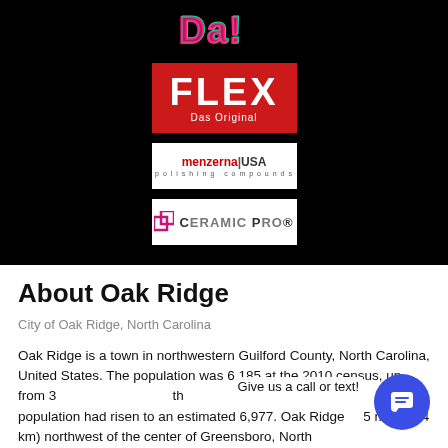[Figure (logo): Black background section with graffiti-style logo at top, FLEX Das Original red logo, menzerna USA polishing compounds logo, and Ceramic Pro logo]
About Oak Ridge
City of Oak Ridge, North Carolina
Oak Ridge is a town in northwestern Guilford County, North Carolina, United States. The population was 6,185 at the 2010 census, up from 3[...] the population had risen to an estimated 6,977. Oak Ridge is 15 miles (24 km) northwest of the center of Greensboro, North